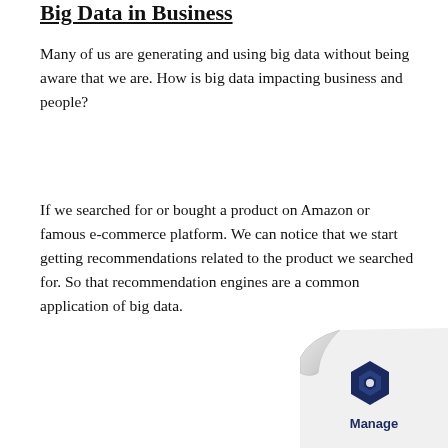Big Data in Business
Many of us are generating and using big data without being aware that we are. How is big data impacting business and people?
If we searched for or bought a product on Amazon or famous e-commerce platform. We can notice that we start getting recommendations related to the product we searched for. So that recommendation engines are a common application of big data.
[Figure (logo): Manage logo with blue hexagon icon and page curl decorative element in bottom right corner]